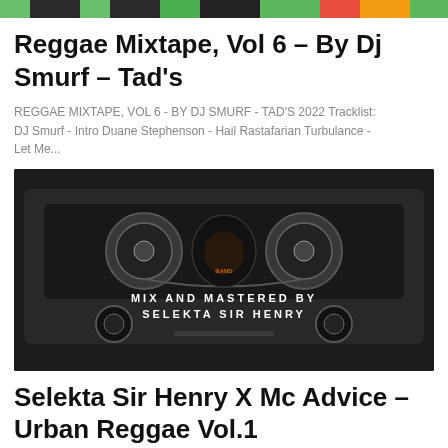[Figure (photo): Top banner strip showing colorful album/mixtape cover thumbnails in a horizontal strip]
Reggae Mixtape, Vol 6 – By Dj Smurf – Tad's
REGGAE MIXTAPE, VOL 6 - BY DJ SMURF - TAD'S 2022 Tracklist: DJ Smurf - Intro Duane Stephenson - Hail Rastafarian Turbulance - Let Me...
[Figure (photo): Black and white photo of a cassette tape with text 'MIX AND MASTERED BY SELEKTA SIR HENRY' overlaid in white, and a circular logo in the center]
Selekta Sir Henry X Mc Advice – Urban Reggae Vol.1